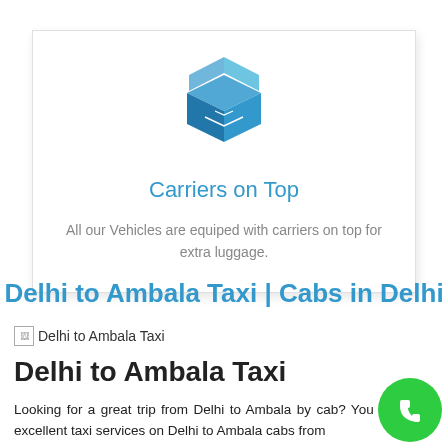[Figure (illustration): Blue open box/package icon with carrier on top symbol inside a white card with shadow]
Carriers on Top
All our Vehicles are equiped with carriers on top for extra luggage.
Delhi to Ambala Taxi | Cabs in Delhi
[Figure (photo): Broken image placeholder labeled 'Delhi to Ambala Taxi']
Delhi to Ambala Taxi
Looking for a great trip from Delhi to Ambala by cab? You can avail excellent taxi services on Delhi to Ambala cabs from